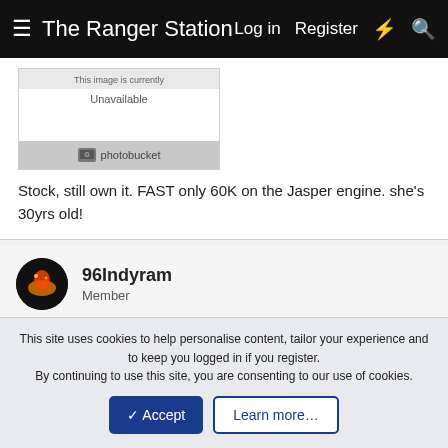The Ranger Station  Log in  Register
[Figure (screenshot): Photobucket image placeholder showing 'This image is currently Unavailable' with Photobucket logo]
Stock, still own it. FAST only 60K on the Jasper engine. she's 30yrs old!
96Indyram
Member
May 13, 2016  #5
GM G body cars... from the 80s...Buick regal, grand national (not cheap and high valuable) Olds cutlass, Monty Carlo Good aftermarket. .can be bought pretty cheap.
This site uses cookies to help personalise content, tailor your experience and to keep you logged in if you register.
By continuing to use this site, you are consenting to our use of cookies.